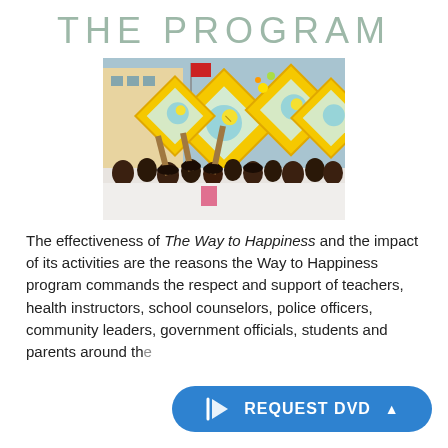THE PROGRAM
[Figure (photo): Group of children in white uniforms holding diamond-shaped yellow signs with sun emblems, viewed from behind, at an outdoor event]
The effectiveness of The Way to Happiness and the impact of its activities are the reasons the Way to Happiness program commands the respect and support of teachers, health instructors, school counselors, police officers, community leaders, government officials, students and parents around th...
[Figure (other): Blue pill-shaped REQUEST DVD button with cursor icon and caret]